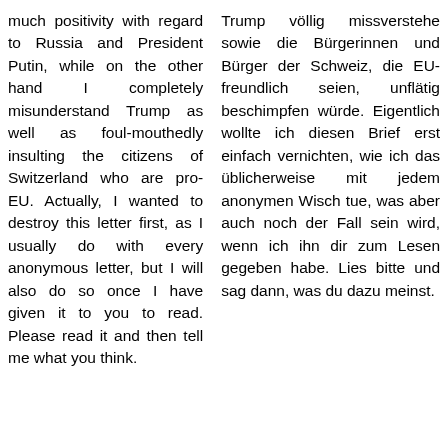much positivity with regard to Russia and President Putin, while on the other hand I completely misunderstand Trump as well as foul-mouthedly insulting the citizens of Switzerland who are pro-EU. Actually, I wanted to destroy this letter first, as I usually do with every anonymous letter, but I will also do so once I have given it to you to read. Please read it and then tell me what you think.
Trump völlig missverstehe sowie die Bürgerinnen und Bürger der Schweiz, die EU-freundlich seien, unflätig beschimpfen würde. Eigentlich wollte ich diesen Brief erst einfach vernichten, wie ich das üblicherweise mit jedem anonymen Wisch tue, was aber auch noch der Fall sein wird, wenn ich ihn dir zum Lesen gegeben habe. Lies bitte und sag dann, was du dazu meinst.